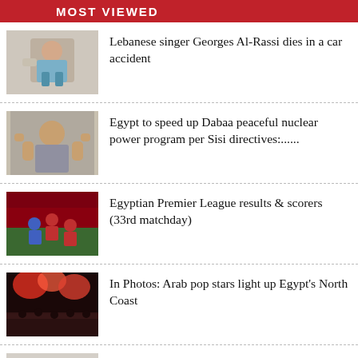MOST VIEWED
[Figure (photo): Photo of a young man sitting]
Lebanese singer Georges Al-Rassi dies in a car accident
[Figure (photo): Photo of Egyptian official with thumbs up]
Egypt to speed up Dabaa peaceful nuclear power program per Sisi directives:......
[Figure (photo): Photo of football players on a pitch]
Egyptian Premier League results & scorers (33rd matchday)
[Figure (photo): Photo of concert with red lights and crowd]
In Photos: Arab pop stars light up Egypt's North Coast
[Figure (photo): Photo of two political figures side by side]
A Japanese economic zone in SCZone can be gateway for Japan exports to Africa:.....
[Figure (photo): Photo with flags and official seal]
PM Madbouly in Tunisia to attend Tokyo